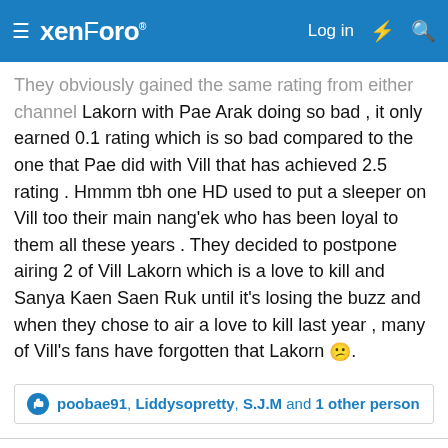xenForo — Log in
They obviously gained the same rating from either channel Lakorn with Pae Arak doing so bad , it only earned 0.1 rating which is so bad compared to the one that Pae did with Vill that has achieved 2.5 rating . Hmmm tbh one HD used to put a sleeper on Vill too their main nang'ek who has been loyal to them all these years . They decided to postpone airing 2 of Vill Lakorn which is a love to kill and Sanya Kaen Saen Ruk until it's losing the buzz and when they chose to air a love to kill last year , many of Vill's fans have forgotten that Lakorn 😕.
poobae91, Liddysopretty, S.J.M and 1 other person
Vico
sarNie Adult
Aug 6, 2018  #67
Some news about the cast :
Chawallakorn Wanthanapisitkul (Pin Anong, Lah Ruk Sut Kob